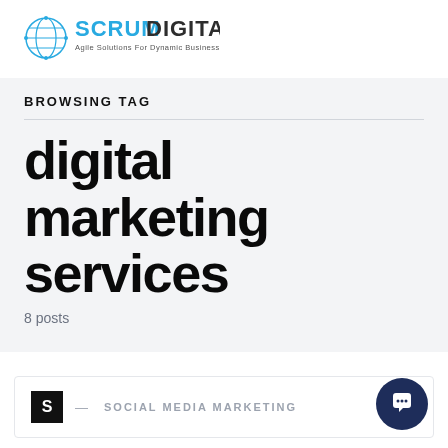[Figure (logo): Scrum Digital logo with globe icon and tagline 'Agile Solutions For Dynamic Business Requirements']
BROWSING TAG
digital marketing services
8 posts
S — SOCIAL MEDIA MARKETING